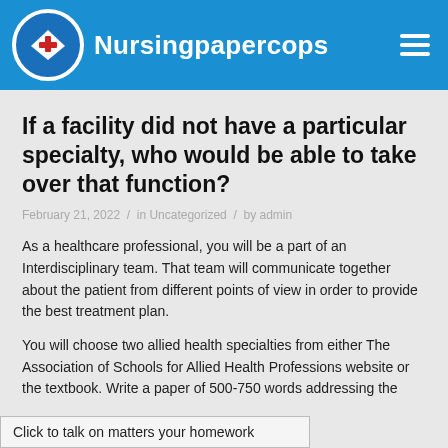Nursingpapercops
If a facility did not have a particular specialty, who would be able to take over that function?
February 21, 2022 / in Uncategorized / by admin
As a healthcare professional, you will be a part of an Interdisciplinary team. That team will communicate together about the patient from different points of view in order to provide the best treatment plan.
You will choose two allied health specialties from either The Association of Schools for Allied Health Professions website or the textbook. Write a paper of 500-750 words addressing the
Click to talk on matters your homework